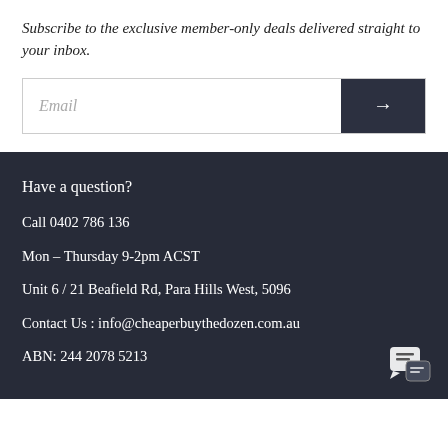Subscribe to the exclusive member-only deals delivered straight to your inbox.
Email → (email subscription form)
Have a question?
Call 0402 786 136
Mon – Thursday 9-2pm ACST
Unit 6 / 21 Beafield Rd, Para Hills West, 5096
Contact Us : info@cheaperbuythedozen.com.au
ABN: 244 2078 5213